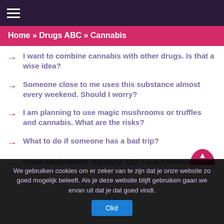☰ (hamburger menu)
Home » Drugs ABC » Cannabis
I want to combine cannabis with other drugs. Is that a wise idea?
Someone close to me uses this substance almost every weekend. Should I worry?
I am planning to use magic mushrooms or truffles and cannabis. What are the risks?
What to do if someone has a bad trip?
I take medications regularly. Can I use cannabis?
We gebruiken cookies om er zeker van te zijn dat je onze website zo goed mogelijk beleeft. Als je deze website blijft gebruiken gaan we ervan uit dat je dat goed vindt.
Oké